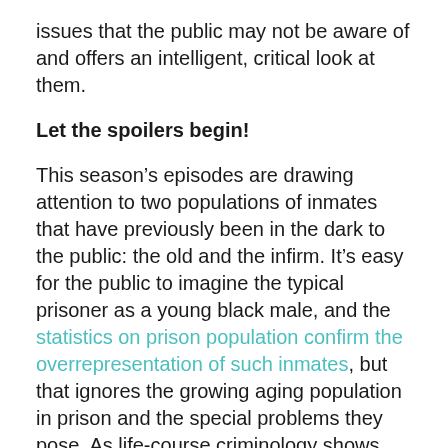issues that the public may not be aware of and offers an intelligent, critical look at them.
Let the spoilers begin!
This season’s episodes are drawing attention to two populations of inmates that have previously been in the dark to the public: the old and the infirm. It’s easy for the public to imagine the typical prisoner as a young black male, and the statistics on prison population confirm the overrepresentation of such inmates, but that ignores the growing aging population in prison and the special problems they pose. As life-course criminology shows, people tend to age out of street crime as a natural transition to adulthood, and lengthy incarceration beyond those periods, particularly for nonviolent, nonsexual offenses,